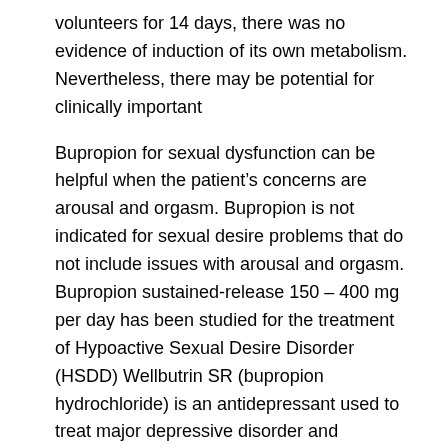volunteers for 14 days, there was no evidence of induction of its own metabolism. Nevertheless, there may be potential for clinically important
Bupropion for sexual dysfunction can be helpful when the patient's concerns are arousal and orgasm. Bupropion is not indicated for sexual desire problems that do not include issues with arousal and orgasm. Bupropion sustained-release 150 – 400 mg per day has been studied for the treatment of Hypoactive Sexual Desire Disorder (HSDD) Wellbutrin SR (bupropion hydrochloride) is an antidepressant used to treat major depressive disorder and seasonal affective disorder.At least one brand of bupropion (Zyban) is used to help people stop smoking by reducing cravings and other withdrawal effects. Wellbutrin SR is available in generic form. Common side effects of Wellbutrin SR include: